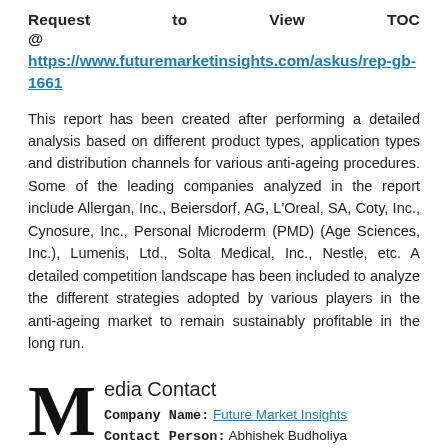Request to View TOC @ https://www.futuremarketinsights.com/askus/rep-gb-1661
This report has been created after performing a detailed analysis based on different product types, application types and distribution channels for various anti-ageing procedures. Some of the leading companies analyzed in the report include Allergan, Inc., Beiersdorf, AG, L'Oreal, SA, Coty, Inc., Cynosure, Inc., Personal Microderm (PMD) (Age Sciences, Inc.), Lumenis, Ltd., Solta Medical, Inc., Nestle, etc. A detailed competition landscape has been included to analyze the different strategies adopted by various players in the anti-ageing market to remain sustainably profitable in the long run.
Media Contact
Company Name: Future Market Insights
Contact Person: Abhishek Budholiya